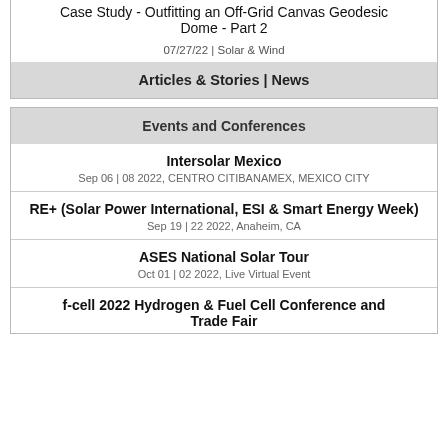Case Study - Outfitting an Off-Grid Canvas Geodesic Dome - Part 2
07/27/22 | Solar & Wind
Articles & Stories | News
Events and Conferences
Intersolar Mexico
Sep 06 | 08 2022, CENTRO CITIBANAMEX, MEXICO CITY
RE+ (Solar Power International, ESI & Smart Energy Week)
Sep 19 | 22 2022, Anaheim, CA
ASES National Solar Tour
Oct 01 | 02 2022, Live Virtual Event
f-cell 2022 Hydrogen & Fuel Cell Conference and Trade Fair